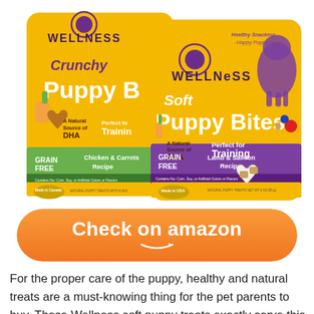[Figure (photo): Two Wellness brand puppy treat bags on white background. Left bag: Wellness Crunchy Puppy Bites, Grain Free, Chicken & Carrots Recipe, A Natural Source of DHA, Perfect for Training, Made in Canada. Right bag: Wellness Soft Puppy Bites, Grain Free, Lamb & Salmon Recipe, A Natural Source of DHA, Perfect for Training, Healthy Snacking Happy Puppies, Made in USA, Natural Puppy Treats Net Wt 3 oz (85g).]
Check on amazon
For the proper care of the puppy, healthy and natural treats are a must-knowing thing for the pet parents to buy. These Wellness soft puppy treats exactly serve this important factor.